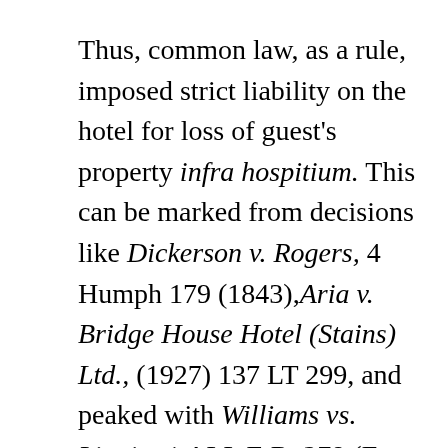Thus, common law, as a rule, imposed strict liability on the hotel for loss of guest's property infra hospitium. This can be marked from decisions like Dickerson v. Rogers, 4 Humph 179 (1843),Aria v. Bridge House Hotel (Stains) Ltd., (1927) 137 LT 299, and peaked with Williams vs. Linnitt, 1 ALL E.R. 278 (Eng. 1951), wherein the parking was free with a notice that the innkeeper would not liable for such loss or damage. By common law, the proprietor of a hotel is an insurer of the property of its guests if it is lost, stolen or damaged infra hospitium,and it has a strict liability to make good the loss incurred to his guests. The